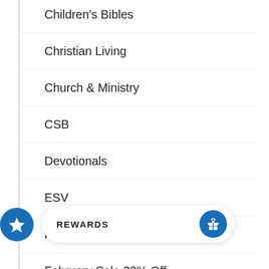Children's Bibles
Christian Living
Church & Ministry
CSB
Devotionals
ESV
Featured Imported Books
February Sale 30% Off
February Sale 40% Off
F
Fiction